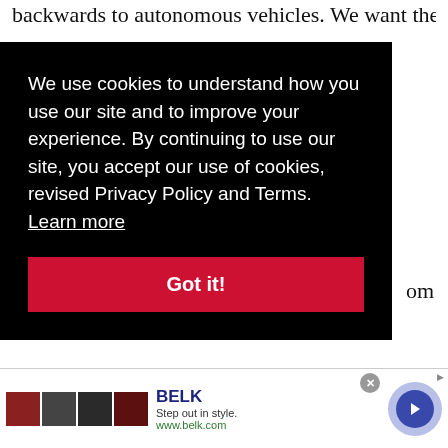backwards to autonomous vehicles. We want them to
[Figure (screenshot): Cookie consent overlay on a black background with text: 'We use cookies to understand how you use our site and to improve your experience. By continuing to use our site, you accept our use of cookies, revised Privacy Policy and Terms. Learn more' and a red 'Got it!' button.]
om
ty of
Abbott points out that Pennsylvania rules require a human driver to be “behind the wheel and responsible for control of the vehicle at all times,” unlike in Arizona where driverless cars were allowed to be operated
[Figure (screenshot): Advertisement banner for BELK featuring thumbnail images, brand name 'BELK', tagline 'Step out in style.', URL 'www.belk.com', a close button (x), and a navigation arrow circle button.]